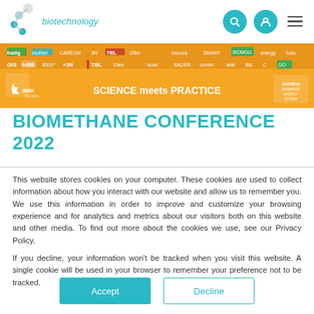biotechnology
[Figure (screenshot): Orange conference banner showing sponsor logos and 'SCIENCE meets PRACTICE' text with IBBK logo]
BIOMETHANE CONFERENCE 2022
This website stores cookies on your computer. These cookies are used to collect information about how you interact with our website and allow us to remember you. We use this information in order to improve and customize your browsing experience and for analytics and metrics about our visitors both on this website and other media. To find out more about the cookies we use, see our Privacy Policy.
If you decline, your information won't be tracked when you visit this website. A single cookie will be used in your browser to remember your preference not to be tracked.